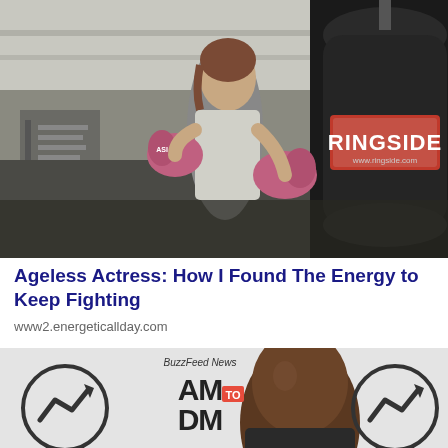[Figure (photo): Woman in a gym wearing pink boxing gloves in a fighting stance next to a Ringside branded heavy punching bag]
Ageless Actress: How I Found The Energy to Keep Fighting
www2.energeticallday.com
[Figure (photo): Man in front of BuzzFeed News AM to DM logo, flanked by two circular trend arrow icons on white background]